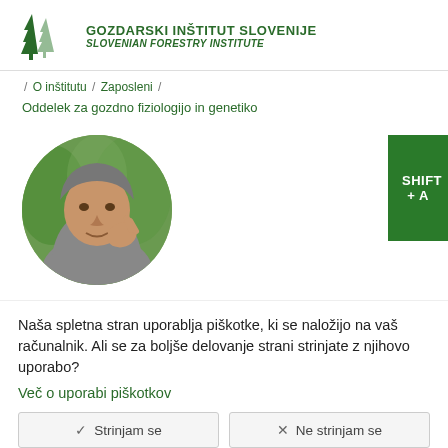[Figure (logo): Gozdarski inštitut Slovenije / Slovenian Forestry Institute logo with tree illustrations and text]
/ O inštitutu / Zaposleni /
Oddelek za gozdno fiziologijo in genetiko
[Figure (photo): Circular profile photo of a man in a grey hoodie outdoors in a green forest setting, pointing at camera]
[Figure (other): Green button with text SHIFT + A]
Naša spletna stran uporablja piškotke, ki se naložijo na vaš računalnik. Ali se za boljše delovanje strani strinjate z njihovo uporabo?
Več o uporabi piškotkov
Strinjam se
Ne strinjam se